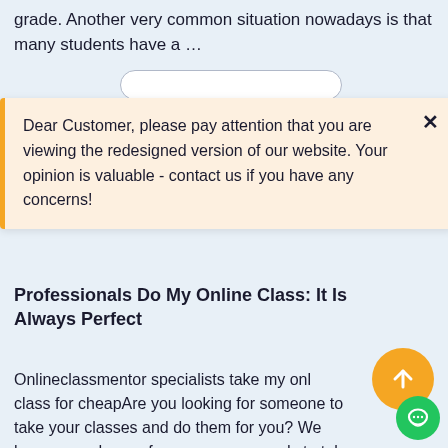grade. Another very common situation nowadays is that many students have a ...
Dear Customer, please pay attention that you are viewing the redesigned version of our website. Your opinion is valuable - contact us if you have any concerns!
Professionals Do My Online Class: It Is Always Perfect
Onlineclassmentor specialists take my online class for cheapAre you looking for someone to take your classes and do them for you? We have a good news for you: we are ready to take any class you have. Onlineclassmentor is the